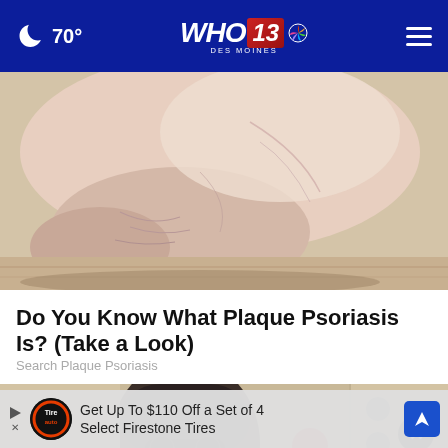70° WHO 13 DES MOINES NBC
[Figure (photo): Close-up photo of a human foot/heel showing dry or irritated skin, possibly indicating psoriasis]
Do You Know What Plaque Psoriasis Is? (Take a Look)
Search Plaque Psoriasis
[Figure (photo): Photo showing a person's head from behind, with partial view of background]
Get Up To $110 Off a Set of 4 Select Firestone Tires